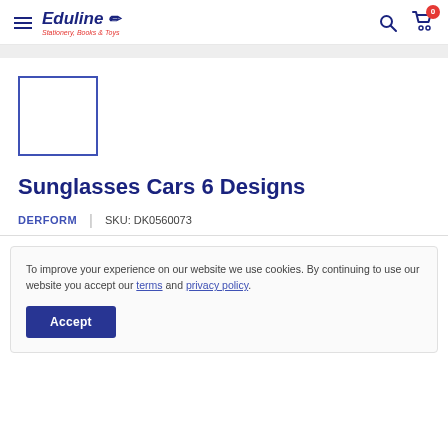Eduline Stationery, Books & Toys — navigation header with search and cart
[Figure (other): Product image placeholder — empty box with blue border]
Sunglasses Cars 6 Designs
DERFORM | SKU: DK0560073
To improve your experience on our website we use cookies. By continuing to use our website you accept our terms and privacy policy. [Accept button]